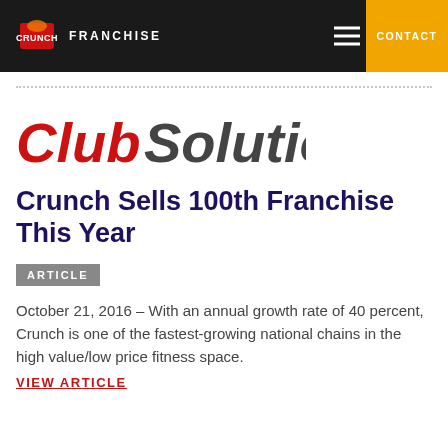CRUNCH FRANCHISE | CONTACT
[Figure (logo): Club Solutions magazine logo — 'Club' in red bold italic, 'Solutions' in dark gray bold italic]
Crunch Sells 100th Franchise This Year
ARTICLE
October 21, 2016 – With an annual growth rate of 40 percent, Crunch is one of the fastest-growing national chains in the high value/low price fitness space.
VIEW ARTICLE